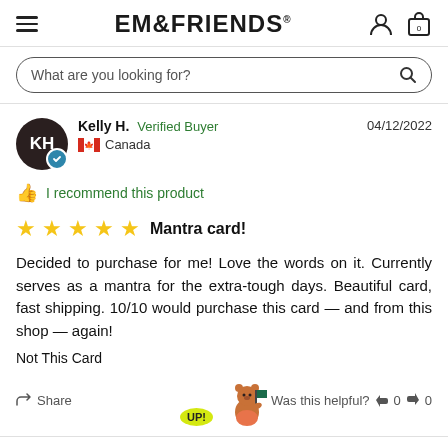EM&FRIENDS
What are you looking for?
Kelly H. Verified Buyer 04/12/2022 Canada
I recommend this product
Mantra card!
Decided to purchase for me! Love the words on it. Currently serves as a mantra for the extra-tough days. Beautiful card, fast shipping. 10/10 would purchase this card — and from this shop — again!
Not This Card
Share
Was this helpful? 0 0